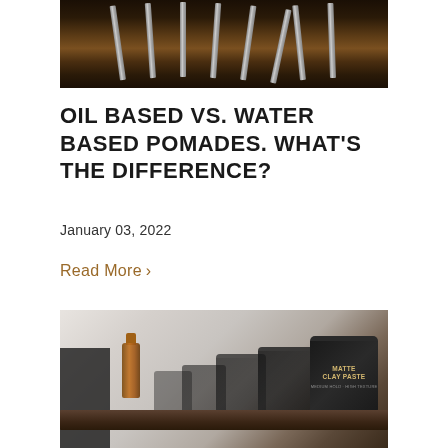[Figure (photo): Close-up overhead photo of scissors or blades arranged on a dark wooden surface]
OIL BASED VS. WATER BASED POMADES. WHAT'S THE DIFFERENCE?
January 03, 2022
Read More >
[Figure (photo): Photo of grooming product jars including a 'Matte Clay Paste' jar labeled with The Harlequin Barber Company, arranged on a wooden shelf with an amber bottle]